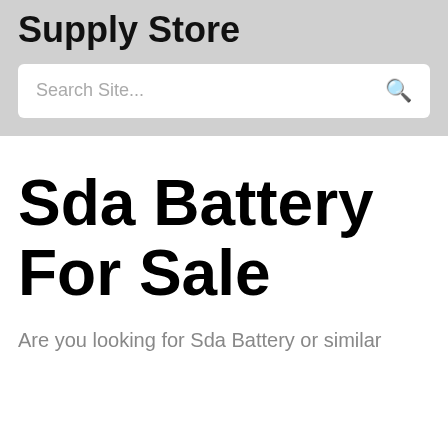Supply Store
Search Site...
Sda Battery For Sale
Are you looking for Sda Battery or similar